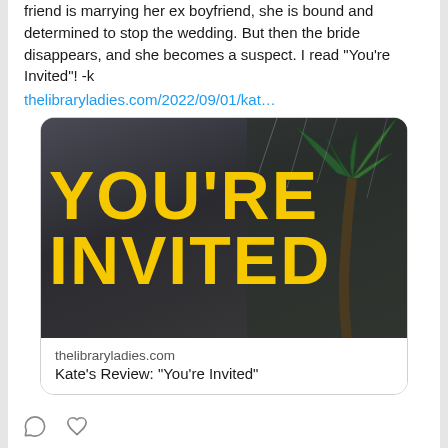friend is marrying her ex boyfriend, she is bound and determined to stop the wedding. But then the bride disappears, and she becomes a suspect. I read "You're Invited"! -k
thelibraryladies.com/2022/09/01/kat…
[Figure (photo): Book cover image with bold yellow text reading YOU'RE INVITED on a dark stormy sky background with palm trees]
thelibraryladies.com
Kate's Review: "You're Invited"
[Figure (other): Comment icon (speech bubble outline)]
[Figure (other): Heart/like icon (outline)]
The Library… @Library… · Aug 31
What should have been a quiet visit in the country instead turns into yet another